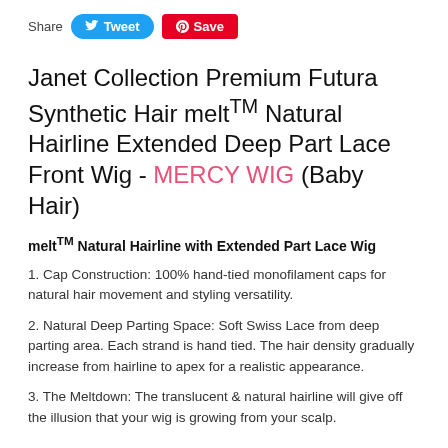Share  Tweet  Save
Janet Collection Premium Futura Synthetic Hair melt™ Natural Hairline Extended Deep Part Lace Front Wig - MERCY WIG (Baby Hair)
melt™ Natural Hairline with Extended Part Lace Wig
1. Cap Construction: 100% hand-tied monofilament caps for natural hair movement and styling versatility.
2. Natural Deep Parting Space: Soft Swiss Lace from deep parting area. Each strand is hand tied. The hair density gradually increase from hairline to apex for a realistic appearance.
3. The Meltdown: The translucent & natural hairline will give off the illusion that your wig is growing from your scalp.